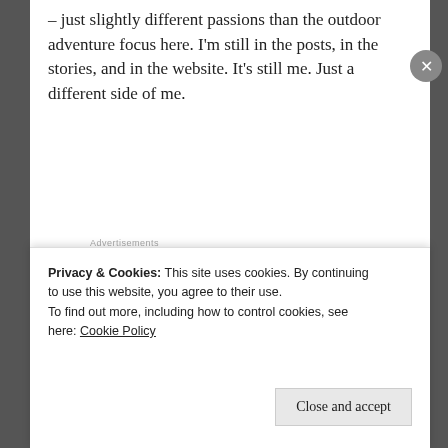– just slightly different passions than the outdoor adventure focus here. I'm still in the posts, in the stories, and in the website. It's still me. Just a different side of me.
Advertisements
[Figure (screenshot): Episode thumbnail image with yellow bold text 'EPISODE' and a silhouette figure on gray background, with color bar strip at bottom]
Privacy & Cookies: This site uses cookies. By continuing to use this website, you agree to their use.
To find out more, including how to control cookies, see here: Cookie Policy
Close and accept